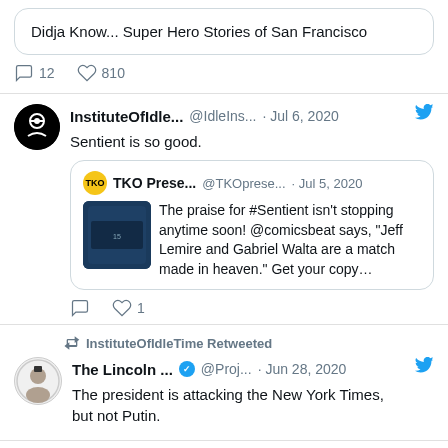Didja Know... Super Hero Stories of San Francisco
12  810
InstituteOfIdle...  @IdleIns...  · Jul 6, 2020
Sentient is so good.
TKO Prese...  @TKOprese...  · Jul 5, 2020
The praise for #Sentient isn't stopping anytime soon! @comicsbeat says, "Jeff Lemire and Gabriel Walta are a match made in heaven." Get your copy…
1
InstituteOfIdleTime Retweeted
The Lincoln ...  @Proj...  · Jun 28, 2020
The president is attacking the New York Times, but not Putin.